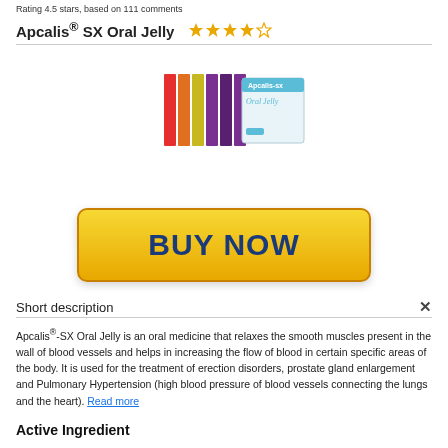Rating 4.5 stars, based on 111 comments
Apcalis® SX Oral Jelly ★★★★☆
[Figure (photo): Product image of Apcalis-SX Oral Jelly box with colorful sachet strips]
[Figure (other): Yellow BUY NOW button]
Short description
Apcalis®-SX Oral Jelly is an oral medicine that relaxes the smooth muscles present in the wall of blood vessels and helps in increasing the flow of blood in certain specific areas of the body. It is used for the treatment of erection disorders, prostate gland enlargement and Pulmonary Hypertension (high blood pressure of blood vessels connecting the lungs and the heart). Read more
Active Ingredient